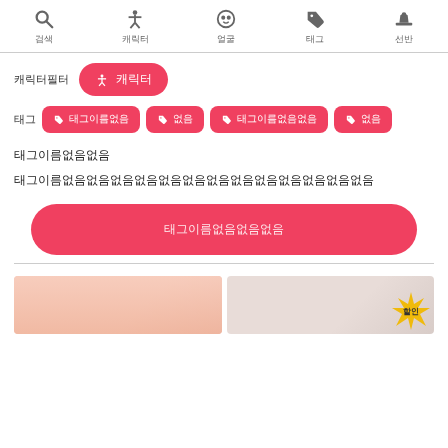검색 | 캐릭터 | 얼굴 | 태그 | 선반
캐릭터필터 ✦ 캐릭터
태그 ♦ 태그이름없음 ♦ 없음 ♦ 태그이름없음없음 ♦ 없음
태그이름없음없음
태그이름없음없음없음없음없음없음없음없음없음없음없음없음없음
태그이름없음없음없음
[Figure (screenshot): Two thumbnail images at the bottom of the screen, one showing an illustration and one with a starburst graphic labeled 할인]